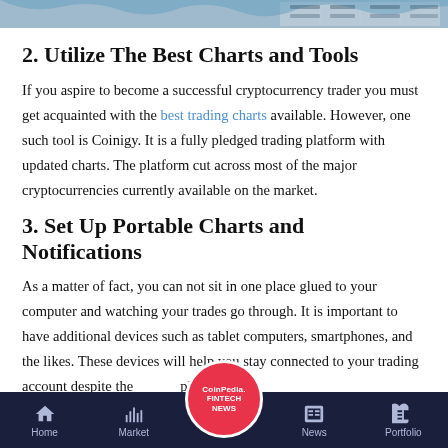[Figure (photo): Top partial banner image showing cryptocurrency trading charts/tables in the background]
2. Utilize The Best Charts and Tools
If you aspire to become a successful cryptocurrency trader you must get acquainted with the best trading charts available. However, one such tool is Coinigy. It is a fully pledged trading platform with updated charts. The platform cut across most of the major cryptocurrencies currently available on the market.
3. Set Up Portable Charts and Notifications
As a matter of fact, you can not sit in one place glued to your computer and watching your trades go through. It is important to have additional devices such as tablet computers, smartphones, and the likes. These devices will help you stay connected to your trading account despite the place.
Home  Market  CoinPedia FINTECH NEWS  News  Portfolio